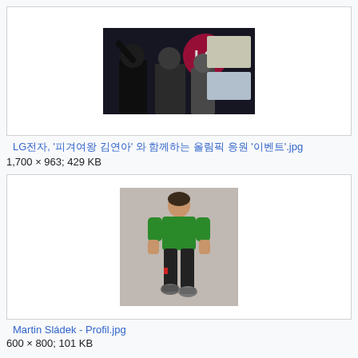[Figure (photo): Photo of people at an LG event, likely a snowboarding/sports awards ceremony with LG branding visible]
LG전자, '피겨여왕 김연아' 와 함께하는 올림픽 응원 '이벤트'.jpg
1,700 × 963; 429 KB
[Figure (photo): Photo of Martin Sládek, a young man standing in a green t-shirt and black pants on a white/grey background]
Martin Sládek - Profil.jpg
600 × 800; 101 KB